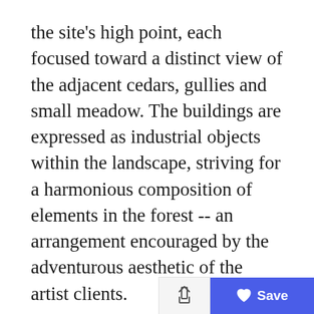the site's high point, each focused toward a distinct view of the adjacent cedars, gullies and small meadow. The buildings are expressed as industrial objects within the landscape, striving for a harmonious composition of elements in the forest -- an arrangement encouraged by the adventurous aesthetic of the artist clients.
A neutral palette of concrete, galvanized metal and polycarbonate is punctuated by moments of saturated color, a warm spectrum chosen with the clients on-site to complement the cool palette of the surrounding woods. Concrete floors, white walls and warm wood tones pr a light filled interior, with art and furniture